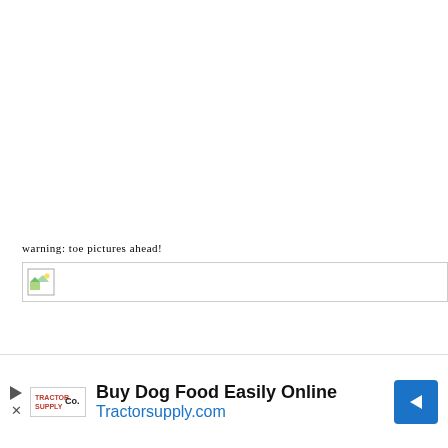warning: toe pictures ahead!
[Figure (photo): Broken/missing image placeholder with small icon, shown as a bordered rectangle with a broken image icon in the top-left corner]
Buy Dog Food Easily Online
Tractorsupply.com